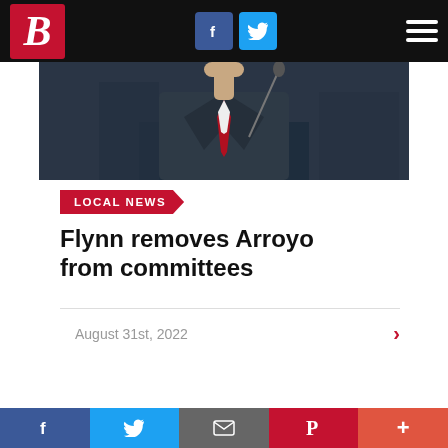B (logo) | Facebook | Twitter | Menu
[Figure (photo): Man in dark suit with red tie, seated at a table with a microphone, partial torso view]
LOCAL NEWS
Flynn removes Arroyo from committees
August 31st, 2022
[Figure (photo): Partial bottom image, appears to be a building or outdoor scene]
Facebook | Twitter | Email | Pinterest | More